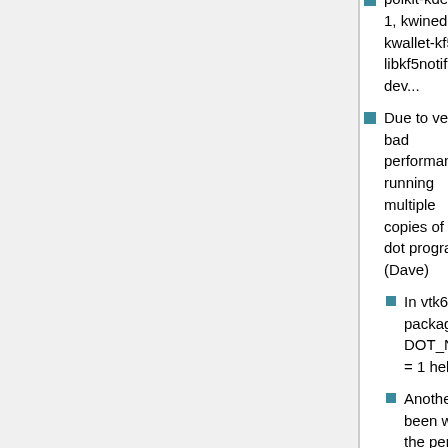polkit-kde-agent-1, kwined, kwallet-kf5 and libkf5notifications-dev...
Due to very bad performance running multiple copies of dot program (Dave)
In vtk6 debian package, adding DOT_NUM_THREADS = 1 helps.
Another issue that I have been wondering about is the performance of our kernel spinlock code. PA 8800 and PA 8900 processors have a cache line length of 128 bytes. I believe thereare some places where we assume 64 bytes. We also allocate spinlocks on 16 byte boundaries. We might get better performance if we allocated on 32 (PA 1.X) and 128 (PA 2.0). Helge: change: __PA_LDCW_ALIGNMENT
I've also seen that better performance may be obtained by doing a byte store to spinlock prior to ldcw. This dirties the cache line and allows operation in cache in certain situations. I think this mainly